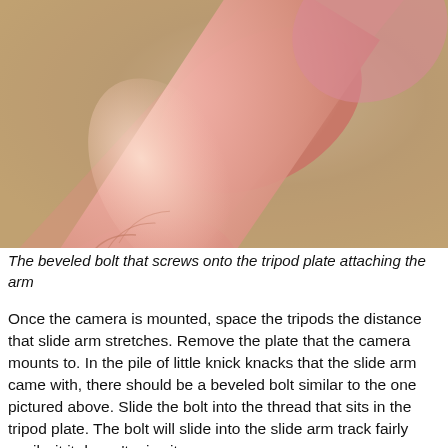[Figure (photo): Close-up photograph of a human thumb/finger held against a beige/tan wall background, showing a beveled bolt between the fingers]
The beveled bolt that screws onto the tripod plate attaching the arm
Once the camera is mounted, space the tripods the distance that slide arm stretches. Remove the plate that the camera mounts to. In the pile of little knick knacks that the slide arm came with, there should be a beveled bolt similar to the one pictured above. Slide the bolt into the thread that sits in the tripod plate. The bolt will slide into the slide arm track fairly easily, it it doesn't, give it a